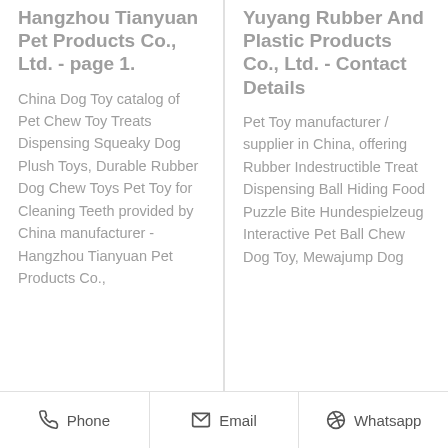Hangzhou Tianyuan Pet Products Co., Ltd. - page 1.
China Dog Toy catalog of Pet Chew Toy Treats Dispensing Squeaky Dog Plush Toys, Durable Rubber Dog Chew Toys Pet Toy for Cleaning Teeth provided by China manufacturer - Hangzhou Tianyuan Pet Products Co.,
Yuyang Rubber And Plastic Products Co., Ltd. - Contact Details
Pet Toy manufacturer / supplier in China, offering Rubber Indestructible Treat Dispensing Ball Hiding Food Puzzle Bite Hundespielzeug Interactive Pet Ball Chew Dog Toy, Mewajump Dog
Phone   Email   Whatsapp